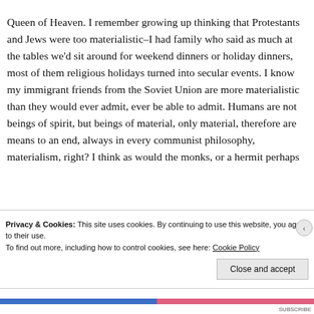Queen of Heaven. I remember growing up thinking that Protestants and Jews were too materialistic–I had family who said as much at the tables we'd sit around for weekend dinners or holiday dinners, most of them religious holidays turned into secular events. I know my immigrant friends from the Soviet Union are more materialistic than they would ever admit, ever be able to admit. Humans are not beings of spirit, but beings of material, only material, therefore are means to an end, always in every communist philosophy, materialism, right? I think as would the monks, or a hermit perhaps in a...
Privacy & Cookies: This site uses cookies. By continuing to use this website, you agree to their use.
To find out more, including how to control cookies, see here: Cookie Policy